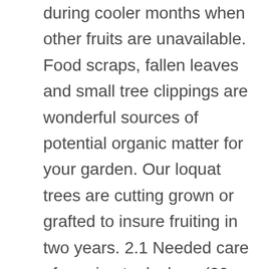during cooler months when other fruits are unavailable. Food scraps, fallen leaves and small tree clippings are wonderful sources of potential organic matter for your garden. Our loquat trees are cutting grown or grafted to insure fruiting in two years. 2.1 Needed care of pruning tools. long (20 cm). Enrich the soil with Yates Dynamic Lifter Soil Improver & Plant Fertiliser. Allow space so that the tree, when fully mature, will fit into your landscape. A must-have for keen gardeners. Australia's bestselling and most trusted gardening guide in its 44th edition! Yates Dynamic Lifter Soil Improver & Plant Fertiliser, © 2020 Yates, a division of DuluxGroup (Australia) Pty Ltd, Choose a sunny